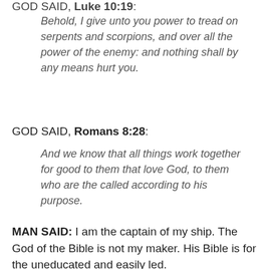GOD SAID, Luke 10:19:
Behold, I give unto you power to tread on serpents and scorpions, and over all the power of the enemy: and nothing shall by any means hurt you.
GOD SAID, Romans 8:28:
And we know that all things work together for good to them that love God, to them who are the called according to his purpose.
MAN SAID: I am the captain of my ship. The God of the Bible is not my maker. His Bible is for the uneducated and easily led.